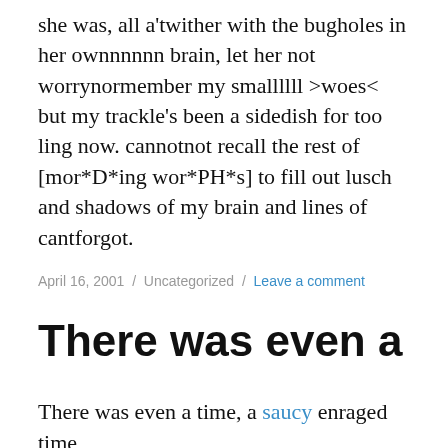she was, all a'twither with the bugholes in her ownnnnnn brain, let her not worrynormember my smallllll >woes< but my trackle's been a sidedish for too ling now. cannotnot recall the rest of [mor*D*ing wor*PH*s] to fill out lusch and shadows of my brain and lines of cantforgot.
April 16, 2001 / Uncategorized / Leave a comment
There was even a
There was even a time, a saucy enraged time,